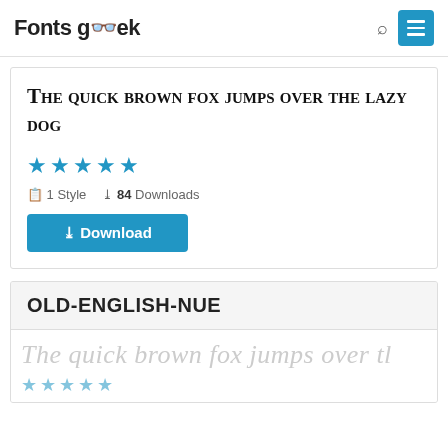Fonts geek
The quick brown fox jumps over the lazy dog
★★★★★  1 Style  84 Downloads
Download
OLD-ENGLISH-NUE
The quick brown fox jumps over tl